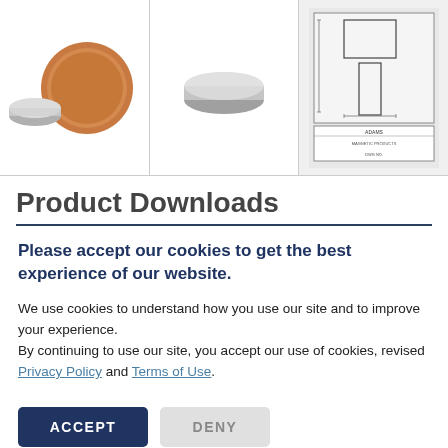[Figure (photo): Three thumbnail images: left shows two small disc magnets next to a penny for scale; center shows a single disc magnet on white background; right shows a technical engineering drawing/blueprint of the magnet with dimensions.]
Product Downloads
Please accept our cookies to get the best experience of our website.
We use cookies to understand how you use our site and to improve your experience.
By continuing to use our site, you accept our use of cookies, revised Privacy Policy and Terms of Use.
ACCEPT   DENY